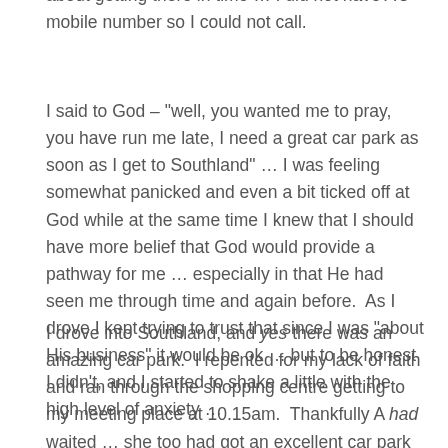about getting there in time … I did not have A's mobile number so I could not call.
I said to God – "well, you wanted me to pray, you have run me late, I need a great car park as soon as I get to Southland" … I was feeling somewhat panicked and even a bit ticked off at God while at the same time I knew that I should have more belief that God would provide a pathway for me … especially in that He had seen me through time and again before.  As I drove I kept trying to trust that since I was "about His business" it would be ok … but to be honest I didn't, and I started to shake a little with the high level of anxiety …
I drove into Southland, and yes there was an amazing car park.  I repented for my lack of faith and ran through the shopping centre getting to my meeting place at 10.15am.  Thankfully A had waited … she too had got an excellent car park … and we laughed as we exchanged Christmas time car parking miracle stories.